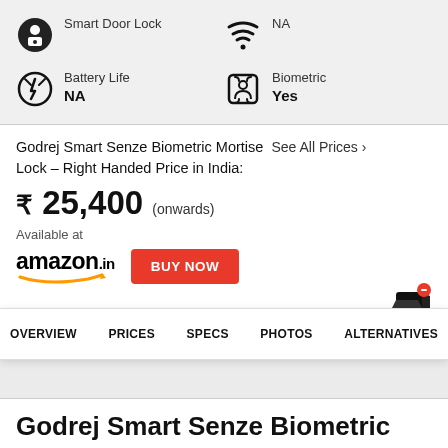| Spec | Value | Spec | Value |
| --- | --- | --- | --- |
| Smart Door Lock |  | NA |  |
| Battery Life | NA | Biometric | Yes |
Godrej Smart Senze Biometric Mortise Lock – Right Handed Price in India:  See All Prices >
₹ 25,400 (onwards)
Available at
[Figure (logo): amazon.in logo with orange arrow]
BUY NOW
OVERVIEW   PRICES   SPECS   PHOTOS   ALTERNATIVES
Godrej Smart Senze Biometric Mortise